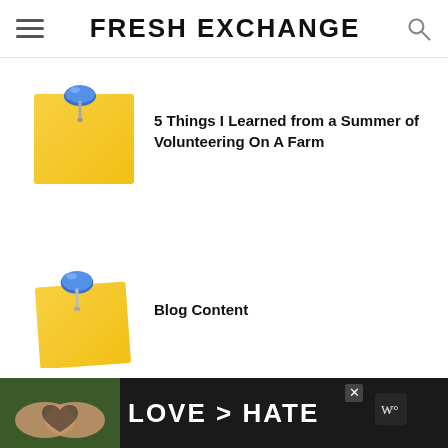FRESH EXCHANGE
[Figure (illustration): Yellow sticky note with blue thumbtack pinned to it]
5 Things I Learned from a Summer of Volunteering On A Farm
[Figure (illustration): Yellow sticky note with blue thumbtack pinned to it]
Blog Content
[Figure (photo): Advertisement banner: hands forming heart shape with text LOVE > HATE]